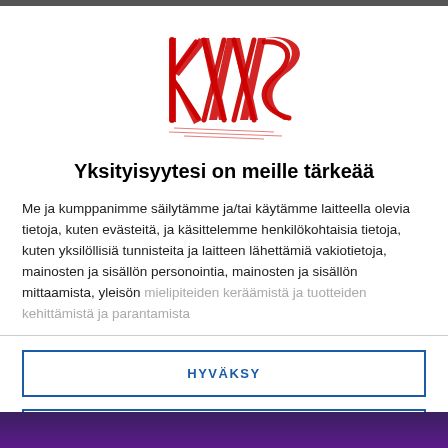[Figure (logo): Red stylized grunge/metal style brand logo text in red]
Yksityisyytesi on meille tärkeää
Me ja kumppanimme säilytämme ja/tai käytämme laitteella olevia tietoja, kuten evästeitä, ja käsittelemme henkilökohtaisia tietoja, kuten yksilöllisiä tunnisteita ja laitteen lähettämiä vakiotietoja, mainosten ja sisällön personointia, mainosten ja sisällön mittaamista, yleisön mielipiteiden keräämistä ja tuotteiden kehittämistä ja parantamista
HYVÄKSY
LISÄÄ VAIHTOEHTOJA